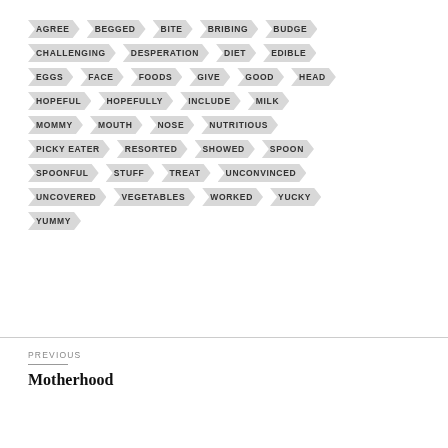AGREE BEGGED BITE BRIBING BUDGE CHALLENGING DESPERATION DIET EDIBLE EGGS FACE FOODS GIVE GOOD HEAD HOPEFUL HOPEFULLY INCLUDE MILK MOMMY MOUTH NOSE NUTRITIOUS PICKY EATER RESORTED SHOWED SPOON SPOONFUL STUFF TREAT UNCONVINCED UNCOVERED VEGETABLES WORKED YUCKY YUMMY
PREVIOUS
Motherhood